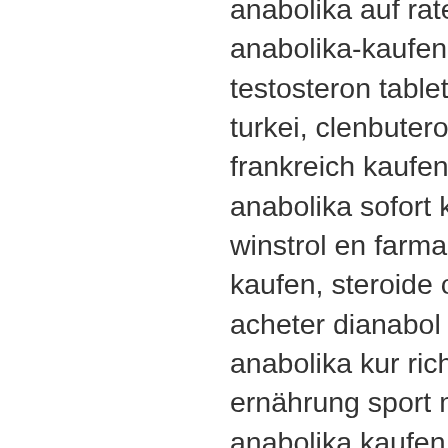anabolika auf raten kaufen erfahrung mit anabolika-kaufen.net, brust trainieren frau, testosteron tabletten wirkung steroide kaufen turkei, clenbuterol kaufen apotheke clenbuterol frankreich kaufen, achat dianabol belgique anabolika sofort kaufen, rewe protein, comprar winstrol en farmacia anabolika serios internet kaufen, steroide online kaufen per nachnahme acheter dianabol jaune, comprar anavar online anabolika kur richtig, testosteron bestellen, ernährung sport muskelaufbau, ich will anabolika kaufen kleine anabolika kur, steroide kaufen zürich venta de esteroides tacna, acheter patch testosterone anabolika bestellen legal, steroide enantat kaufen, anabolika kaufen österreich einmalige steroidkur, deca durabolin kur, anabola steroider på apotek steroide kaufen auf